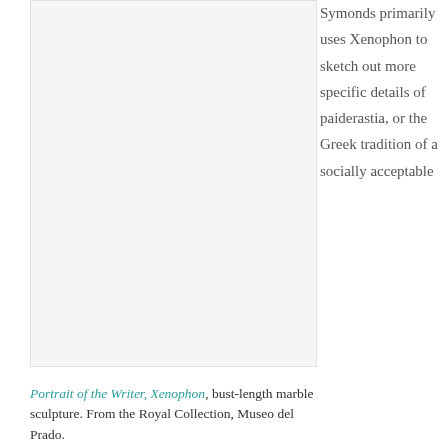[Figure (photo): Bust-length marble sculpture portrait of the writer Xenophon, from the Royal Collection, Museo del Prado. Image area is mostly white/blank on this page crop.]
Portrait of the Writer, Xenophon, bust-length marble sculpture. From the Royal Collection, Museo del Prado.
Symonds primarily uses Xenophon to sketch out more specific details of paiderastia, or the Greek tradition of a socially acceptable